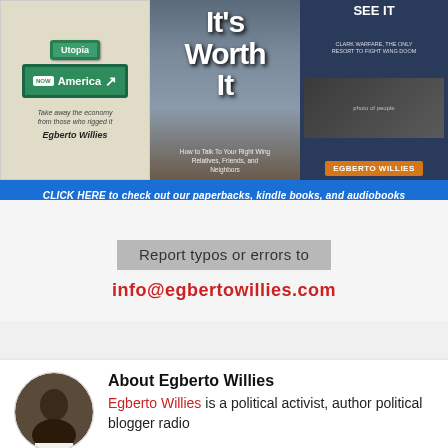[Figure (illustration): Book advertisement banner showing three book covers by Egberto Willies: a road sign book (America/Utopia), 'It's Worth It - How to Talk To Your Right Wing Relatives, Friends, and Neighbors', and 'See It - Clark Warfare, The Only Resort to Fight Wing Doom']
CLICK HERE to check out our paperbacks, kindle books, and audiobooks
Report typos or errors to
info@egbertowillies.com
[Figure (photo): Circular portrait photo of Egberto Willies]
About Egberto Willies
Egberto Willies is a political activist, author political blogger radio